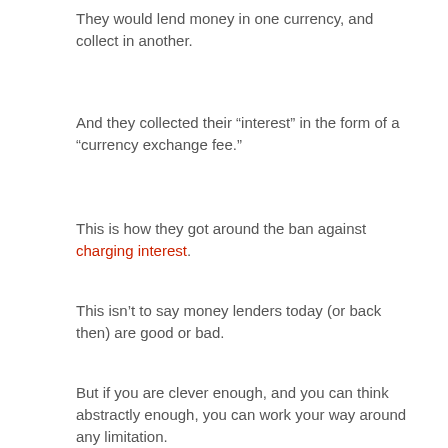They would lend money in one currency, and collect in another.
And they collected their “interest” in the form of a “currency exchange fee.”
This is how they got around the ban against charging interest.
This isn’t to say money lenders today (or back then) are good or bad.
But if you are clever enough, and you can think abstractly enough, you can work your way around any limitation.
If you can’t think very cleverly, abstractly, or laterally, when you come up against an obstacle, you’re stuck.